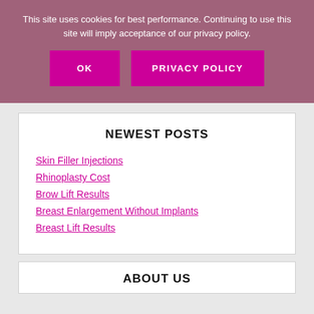This site uses cookies for best performance. Continuing to use this site will imply acceptance of our privacy policy.
OK
PRIVACY POLICY
NEWEST POSTS
Skin Filler Injections
Rhinoplasty Cost
Brow Lift Results
Breast Enlargement Without Implants
Breast Lift Results
ABOUT US